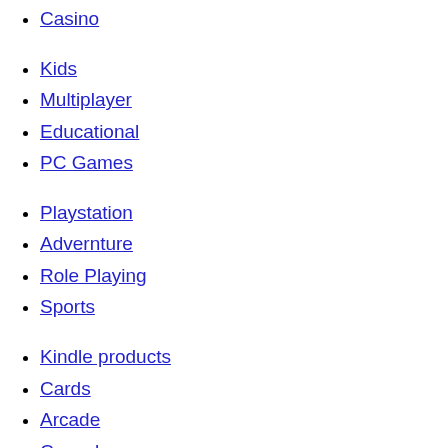Puzzle & Trivia
Board
Casino
Kids
Multiplayer
Educational
PC Games
Playstation
Advernture
Role Playing
Sports
Kindle products
Cards
Arcade
Casual
Special Offers
Search
Best Sellers
Tags
Site Map
Brands